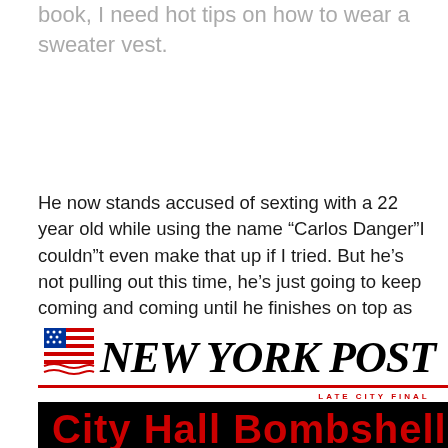book, I need hot tips on how to wear a sweater vest.
He now stands accused of sexting with a 22 year old while using the name “Carlos Danger”I couldn”t even make that up if I tried. But he’s not pulling out this time, he’s just going to keep coming and coming until he finishes on top as our new mayor. I wonder if the New York Post kept any puns in reserve, or if they just blew their load on Anthony Weiner’s first sexting scandal. I imagine their warroom is buzzing with activity, as they try and rhyme “Huma” With “Fuming” (“Huma is Fuma-ing” btw, thanks Post, please hire me for a million dollars a year please).
[Figure (screenshot): New York Post newspaper front page header showing the New York Post logo with Page Six badge, 'LATE CITY FINAL' subtitle, and red headline text reading 'City Hall Bombshell']